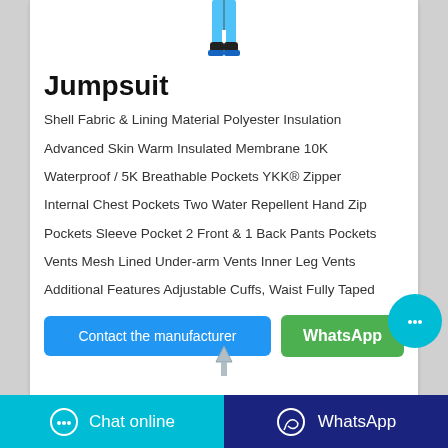[Figure (photo): Partial view of a jumpsuit product image showing lower portion with blue fabric and black boots]
Jumpsuit
Shell Fabric & Lining Material Polyester Insulation Advanced Skin Warm Insulated Membrane 10K Waterproof / 5K Breathable Pockets YKK® Zipper Internal Chest Pockets Two Water Repellent Hand Zip Pockets Sleeve Pocket 2 Front & 1 Back Pants Pockets Vents Mesh Lined Under-arm Vents Inner Leg Vents Additional Features Adjustable Cuffs, Waist Fully Taped
[Figure (photo): Small thumbnail of another jumpsuit product]
Contact the manufacturer
WhatsApp
Chat online
WhatsApp